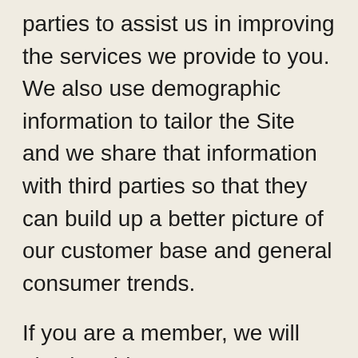parties to assist us in improving the services we provide to you. We also use demographic information to tailor the Site and we share that information with third parties so that they can build up a better picture of our customer base and general consumer trends.
If you are a member, we will also be able to contact you about your account and your use of our services.